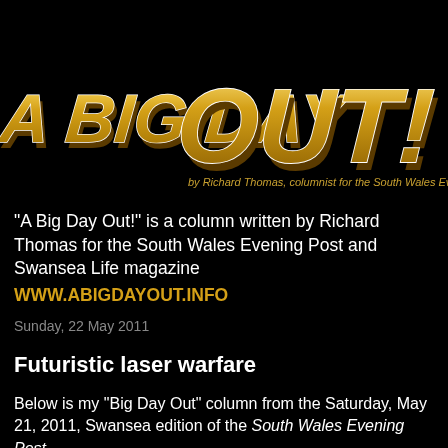[Figure (logo): A Big Day Out! logo — large gold/yellow 3D text reading 'A BIG DAY OUT!' on black background, with subtitle 'by Richard Thomas, columnist for the South Wales Evening Post']
“A Big Day Out!” is a column written by Richard Thomas for the South Wales Evening Post and Swansea Life magazine WWW.ABIGDAYOUT.INFO
Sunday, 22 May 2011
Futuristic laser warfare
Below is my “Big Day Out” column from the Saturday, May 21, 2011, Swansea edition of the South Wales Evening Post.